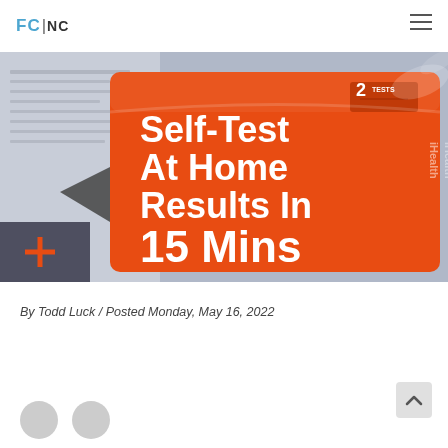FC|NC
[Figure (photo): Close-up photo of iHealth COVID-19 At-Home Self-Test boxes in orange, text reading '2 TESTS Self-Test At Home Results In 15 Mins', with iHealth branding visible on plastic packaging]
By Todd Luck  /  Posted Monday, May 16, 2022